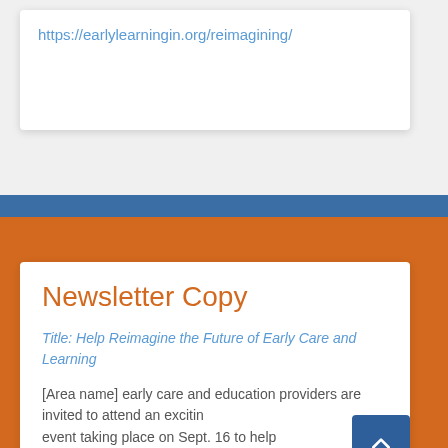https://earlylearningin.org/reimagining/
Newsletter Copy
Title: Help Reimagine the Future of Early Care and Learning
[Area name] early care and education providers are invited to attend an exciting event taking place on Sept. 16 to help